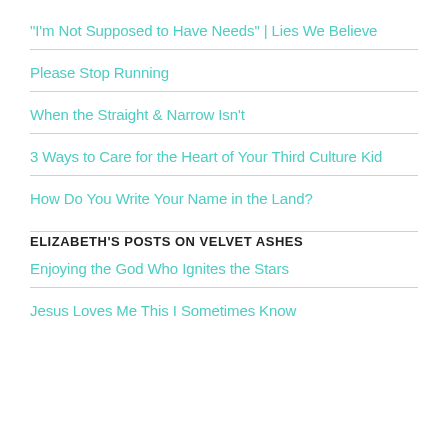"I'm Not Supposed to Have Needs" | Lies We Believe
Please Stop Running
When the Straight & Narrow Isn't
3 Ways to Care for the Heart of Your Third Culture Kid
How Do You Write Your Name in the Land?
ELIZABETH'S POSTS ON VELVET ASHES
Enjoying the God Who Ignites the Stars
Jesus Loves Me This I Sometimes Know